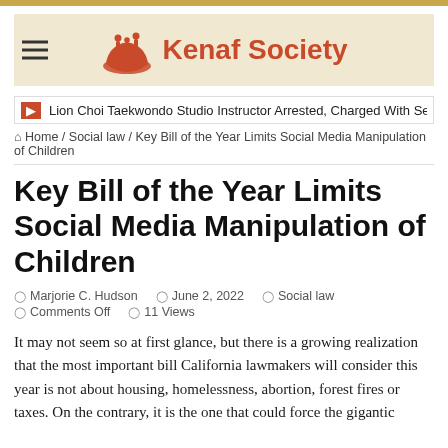Kenaf Society
Lion Choi Taekwondo Studio Instructor Arrested, Charged With Sexual Offens…
Home / Social law / Key Bill of the Year Limits Social Media Manipulation of Children
Key Bill of the Year Limits Social Media Manipulation of Children
Marjorie C. Hudson  June 2, 2022  Social law  Comments Off  11 Views
It may not seem so at first glance, but there is a growing realization that the most important bill California lawmakers will consider this year is not about housing, homelessness, abortion, forest fires or taxes. On the contrary, it is the one that could force the gigantic